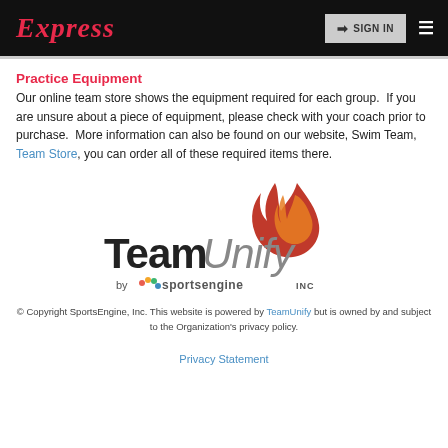Express — SIGN IN
Practice Equipment
Our online team store shows the equipment required for each group.  If you are unsure about a piece of equipment, please check with your coach prior to purchase.  More information can also be found on our website, Swim Team, Team Store, you can order all of these required items there.
[Figure (logo): TeamUnify by SportsEngine INC logo with flame icon]
© Copyright SportsEngine, Inc. This website is powered by TeamUnify but is owned by and subject to the Organization's privacy policy.
Privacy Statement